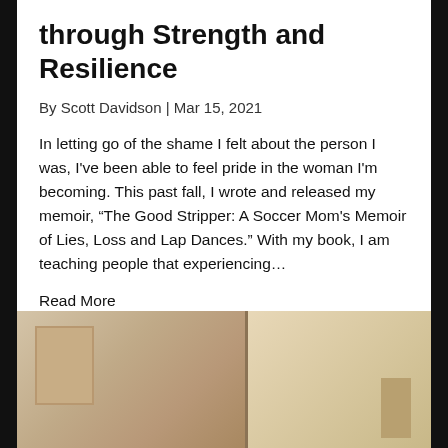through Strength and Resilience
By Scott Davidson | Mar 15, 2021
In letting go of the shame I felt about the person I was, I've been able to feel pride in the woman I'm becoming. This past fall, I wrote and released my memoir, “The Good Stripper: A Soccer Mom's Memoir of Lies, Loss and Lap Dances.” With my book, I am teaching people that experiencing…
Read More
[Figure (photo): Interior room scene with beige/tan walls and what appears to be a door or hallway, partially cropped at bottom of page]